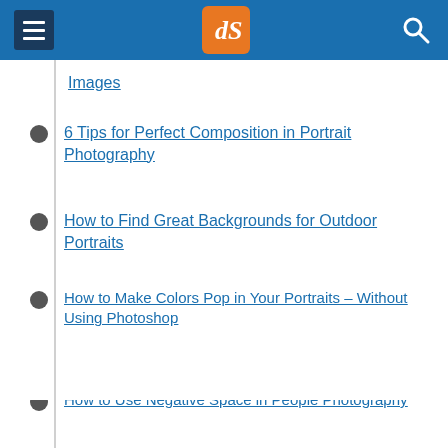dPS (digital Photography School) header with navigation menu and search
Images
6 Tips for Perfect Composition in Portrait Photography
How to Find Great Backgrounds for Outdoor Portraits
How to Make Colors Pop in Your Portraits – Without Using Photoshop
How to Use Foreground Framing to Improve Your Portrait Photography
How to Use Negative Space in People Photography